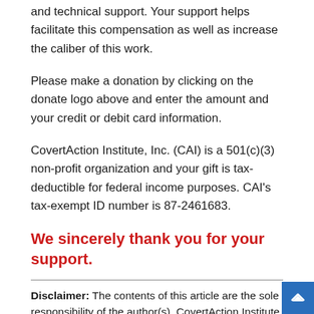and technical support. Your support helps facilitate this compensation as well as increase the caliber of this work.
Please make a donation by clicking on the donate logo above and enter the amount and your credit or debit card information.
CovertAction Institute, Inc. (CAI) is a 501(c)(3) non-profit organization and your gift is tax-deductible for federal income purposes. CAI’s tax-exempt ID number is 87-2461683.
We sincerely thank you for your support.
Disclaimer: The contents of this article are the sole responsibility of the author(s). CovertAction Institute, Inc. (CAI), including its Board of Directors (BD), Editorial Board (EB), Advisory Board (AB), staff, volunteers and its projects